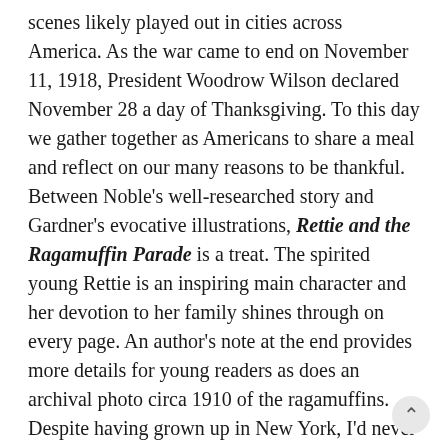scenes likely played out in cities across America. As the war came to end on November 11, 1918, President Woodrow Wilson declared November 28 a day of Thanksgiving. To this day we gather together as Americans to share a meal and reflect on our many reasons to be thankful. Between Noble's well-researched story and Gardner's evocative illustrations, Rettie and the Ragamuffin Parade is a treat. The spirited young Rettie is an inspiring main character and her devotion to her family shines through on every page. An author's note at the end provides more details for young readers as does an archival photo circa 1910 of the ragamuffins. Despite having grown up in New York, I'd never heard of this parade and appreciate Noble's successful efforts at capturing the time, place and people struggling daily on the Lower East Side.